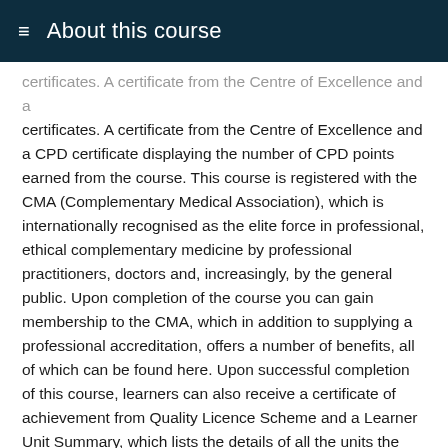≡  About this course
certificates. A certificate from the Centre of Excellence and a CPD certificate displaying the number of CPD points earned from the course. This course is registered with the CMA (Complementary Medical Association), which is internationally recognised as the elite force in professional, ethical complementary medicine by professional practitioners, doctors and, increasingly, by the general public. Upon completion of the course you can gain membership to the CMA, which in addition to supplying a professional accreditation, offers a number of benefits, all of which can be found here. Upon successful completion of this course, learners can also receive a certificate of achievement from Quality Licence Scheme and a Learner Unit Summary, which lists the details of all the units the learner has completed as part of the course. (This certificate is optional and costs an additional £15). The Quality Licence Scheme is a